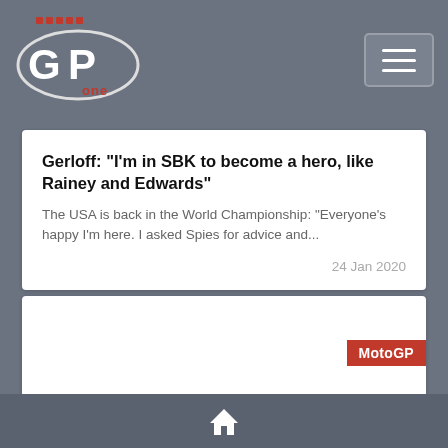GPone logo and navigation header
Gerloff: "I'm in SBK to become a hero, like Rainey and Edwards"
The USA is back in the World Championship: "Everyone's happy I'm here. I asked Spies for advice and...
24 Jan 2020
[Figure (other): Article card with MotoGP badge, white background image area]
Home navigation icon